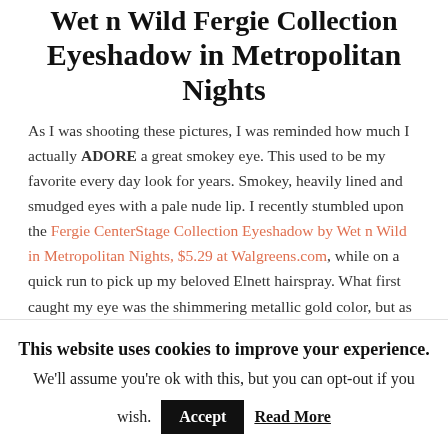Wet n Wild Fergie Collection Eyeshadow in Metropolitan Nights
As I was shooting these pictures, I was reminded how much I actually ADORE a great smokey eye. This used to be my favorite every day look for years. Smokey, heavily lined and smudged eyes with a pale nude lip. I recently stumbled upon the Fergie CenterStage Collection Eyeshadow by Wet n Wild in Metropolitan Nights, $5.29 at Walgreens.com, while on a quick run to pick up my beloved Elnett hairspray. What first caught my eye was the shimmering metallic gold color, but as I reached for this little gem, I actually squealed with excitement. The other colors in this kit are amazing as well! I first applied the light cream color to my entire eyelid. Then I took the dark metallic charcoal and blended it across my lower lid. After lining the
This website uses cookies to improve your experience. We'll assume you're ok with this, but you can opt-out if you wish. Accept Read More